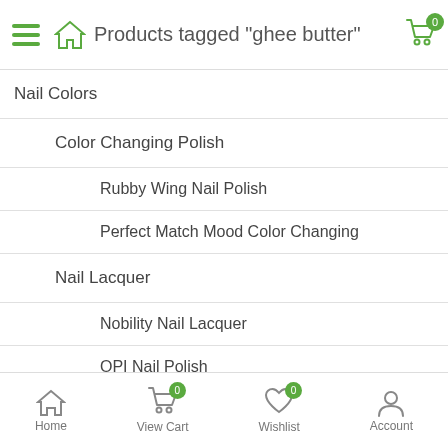Products tagged "ghee butter"
Nail Colors
Color Changing Polish
Rubby Wing Nail Polish
Perfect Match Mood Color Changing
Nail Lacquer
Nobility Nail Lacquer
OPI Nail Polish
Color Club Nail Polish
CND Vinylux
Home  View Cart 0  Wishlist 0  Account